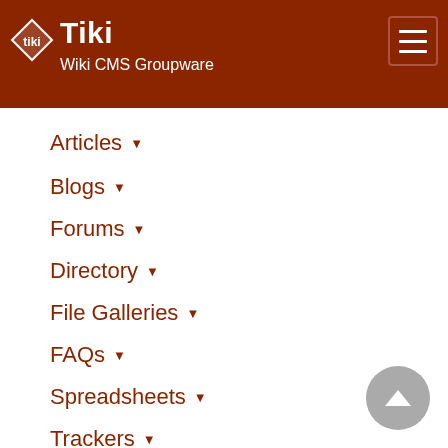Tiki Wiki CMS Groupware
Articles
Blogs
Forums
Directory
File Galleries
FAQs
Spreadsheets
Trackers
Newsletters
Kaltura Video